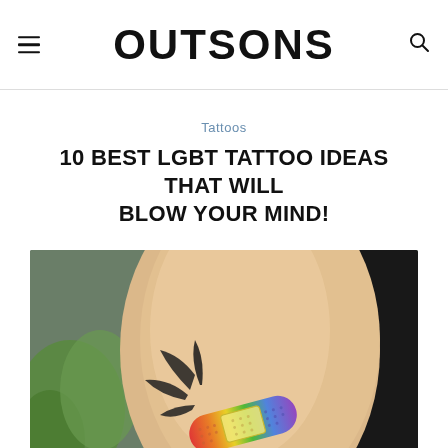OUTSONS
Tattoos
10 BEST LGBT TATTOO IDEAS THAT WILL BLOW YOUR MIND!
[Figure (photo): Close-up photograph of a person's arm with a rainbow-colored band-aid tattoo. The tattoo depicts a bandage with red, orange, yellow, green, blue, and purple colors. The background shows a blurred green plant on the left and dark background on the right.]